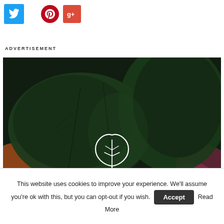[Figure (other): Social media share buttons: Twitter (blue bird icon), Pinterest (red circle with P icon), Google+ (red square with g+ icon)]
ADVERTISEMENT
[Figure (photo): Dark close-up photo of green leaves with a white leaf/plant icon centered in the lower portion of the image. Pink/red flower petals visible in corners.]
This website uses cookies to improve your experience. We'll assume you're ok with this, but you can opt-out if you wish. Accept Read More